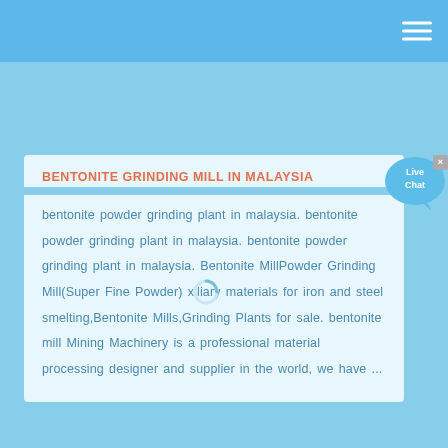BENTONITE GRINDING MILL IN MALAYSIA
bentonite powder grinding plant in malaysia. bentonite powder grinding plant in malaysia. bentonite powder grinding plant in malaysia. Bentonite MillPowder Grinding Mill(Super Fine Powder) xiliary materials for iron and steel smelting,Bentonite Mills,Grinding Plants for sale. bentonite mill Mining Machinery is a professional material processing designer and supplier in the world, we have ...